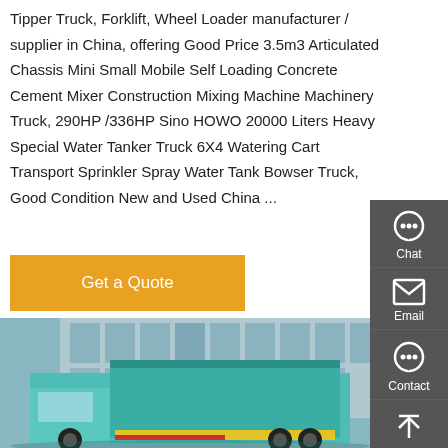Tipper Truck, Forklift, Wheel Loader manufacturer / supplier in China, offering Good Price 3.5m3 Articulated Chassis Mini Small Mobile Self Loading Concrete Cement Mixer Construction Mixing Machine Machinery Truck, 290HP /336HP Sino HOWO 20000 Liters Heavy Special Water Tanker Truck 6X4 Watering Cart Transport Sprinkler Spray Water Tank Bowser Truck, Good Condition New and Used China ...
[Figure (other): Button labeled 'Get a Quote' with orange/amber background and white text]
[Figure (photo): Photo of a teal/turquoise tipper dump truck parked in front of a building with glass facade]
[Figure (infographic): Dark gray sidebar with Chat, Email, Contact, and Top navigation icons and labels]